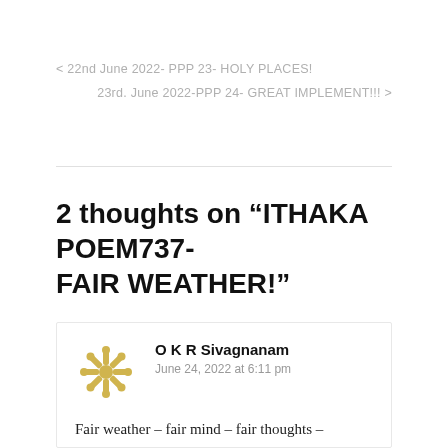< 22nd June 2022- PPP 23- HOLY PLACES!
23rd. June 2022-PPP 24- GREAT IMPLEMENT!!! >
2 thoughts on “ITHAKA POEM737-FAIR WEATHER!”
O K R Sivagnanam
June 24, 2022 at 6:11 pm
Fair weather – fair mind – fair thoughts –